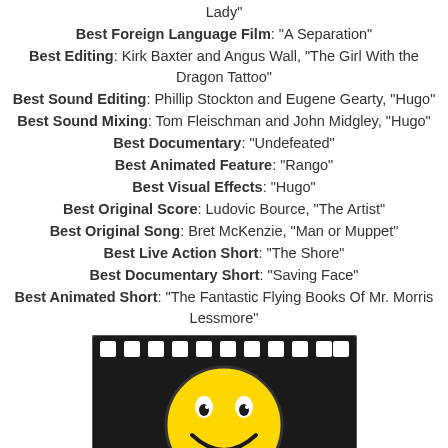Lady"
Best Foreign Language Film: "A Separation"
Best Editing: Kirk Baxter and Angus Wall, "The Girl With the Dragon Tattoo"
Best Sound Editing: Phillip Stockton and Eugene Gearty, "Hugo"
Best Sound Mixing: Tom Fleischman and John Midgley, "Hugo"
Best Documentary: "Undefeated"
Best Animated Feature: "Rango"
Best Visual Effects: "Hugo"
Best Original Score: Ludovic Bource, "The Artist"
Best Original Song: Bret McKenzie, "Man or Muppet"
Best Live Action Short: "The Shore"
Best Documentary Short: "Saving Face"
Best Animated Short: "The Fantastic Flying Books Of Mr. Morris Lessmore"
[Figure (illustration): A film strip frame containing a yellow smiley face emoji on a black background, with film sprocket holes along the top and bottom edges.]